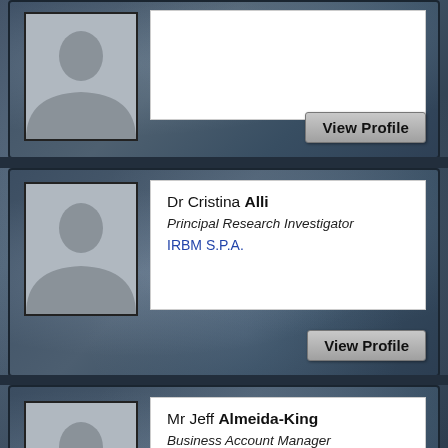[Figure (screenshot): Partial profile card at top of page — avatar placeholder (silhouette) on left, info box on right with 'View Profile' button at bottom right.]
Dr Cristina Alli
Principal Research Investigator
IRBM S.P.A.
View Profile
Mr Jeff Almeida-King
Business Account Manager
Genedata
View Profile